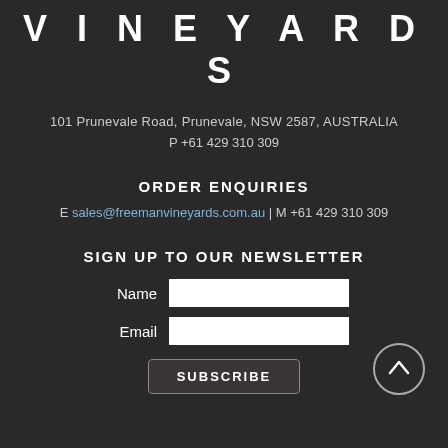VINEYARDS
101 Prunevale Road, Prunevale, NSW 2587, AUSTRALIA
P +61 429 310 309
ORDER ENQUIRIES
E sales@freemanvineyards.com.au | M +61 429 310 309
SIGN UP TO OUR NEWSLETTER
Name [input field]
Email [input field]
SUBSCRIBE
[Figure (illustration): Circle with upward arrow scroll-to-top button]